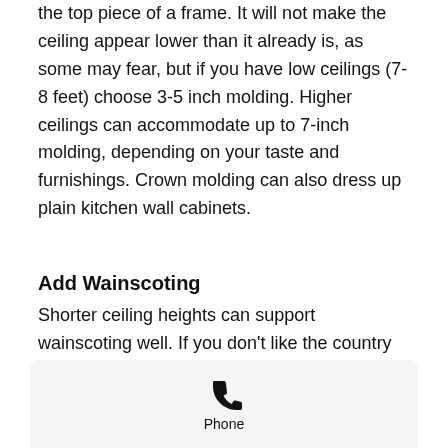the top piece of a frame. It will not make the ceiling appear lower than it already is, as some may fear, but if you have low ceilings (7-8 feet) choose 3-5 inch molding. Higher ceilings can accommodate up to 7-inch molding, depending on your taste and furnishings. Crown molding can also dress up plain kitchen wall cabinets.
Add Wainscoting
Shorter ceiling heights can support wainscoting well. If you don't like the country casual of bead board wainscoting, try the classic look of raised wood panels. Or consider the simple addition of a narrow strip of trim
[Figure (other): Phone icon with label 'Phone' in a light grey bar at the bottom of the page]